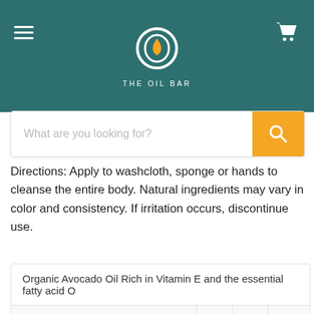[Figure (logo): The Oil Bar logo — circular teardrop/oil drop emblem in white/gold on teal background with text THE OIL BAR below]
[Figure (screenshot): Search bar with placeholder text 'What are you looking for?' and orange search button with magnifying glass icon]
Directions: Apply to washcloth, sponge or hands to cleanse the entire body. Natural ingredients may vary in color and consistency. If irritation occurs, discontinue use.
| Organic Avocado Oil Rich in Vitamin E and the essential fatty acid O... |
|  |  |  |  |
Banana
Sweet, golden, ripe, fresh from the banana tree!